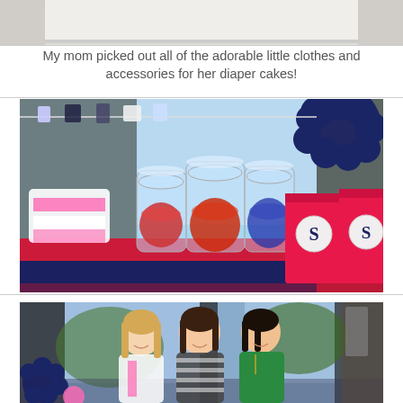[Figure (photo): Top portion of a photo showing a white tablecloth or ceiling area, partially cropped]
My mom picked out all of the adorable little clothes and accessories for her diaper cakes!
[Figure (photo): Baby shower candy bar table with glass apothecary jars filled with red and blue candy, baby clothes hanging on a garland, a large navy blue tissue paper pompom, and two bright pink bags with letter S monogram stickers]
[Figure (photo): Three women smiling at a baby shower, standing in front of a window with navy blue and pink tissue paper pompoms visible]